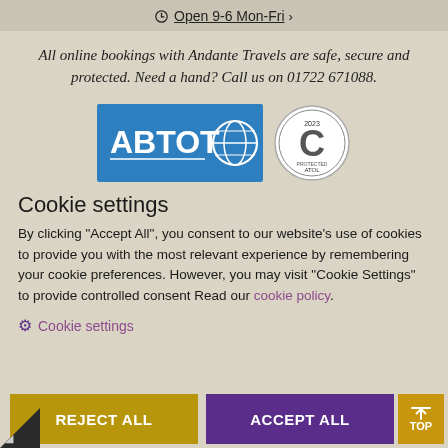Open 9-6 Mon-Fri
All online bookings with Andante Travels are safe, secure and protected. Need a hand? Call us on 01722 671088.
[Figure (logo): ABTOT logo (blue rectangle with globe) and ATOL Protected circular badge]
Cookie settings
By clicking "Accept All", you consent to our website's use of cookies to provide you with the most relevant experience by remembering your cookie preferences. However, you may visit "Cookie Settings" to provide controlled consent Read our cookie policy.
Cookie settings
REJECT ALL   ACCEPT ALL